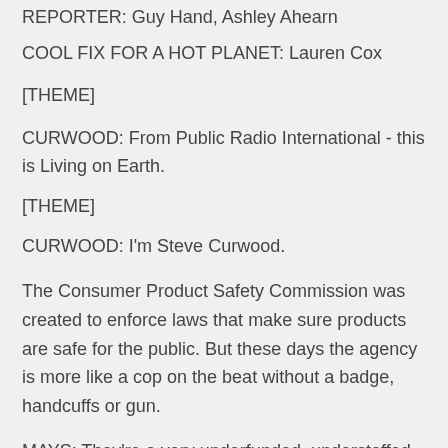REPORTER: Guy Hand, Ashley Ahearn
COOL FIX FOR A HOT PLANET: Lauren Cox
[THEME]
CURWOOD: From Public Radio International - this is Living on Earth.
[THEME]
CURWOOD: I'm Steve Curwood.
The Consumer Product Safety Commission was created to enforce laws that make sure products are safe for the public. But these days the agency is more like a cop on the beat without a badge, handcuffs or gun.
MAYS: They're a very underfunded, understaffed agency responsible for over 15 thousand different types of products. They certainly can't catch it all. They need